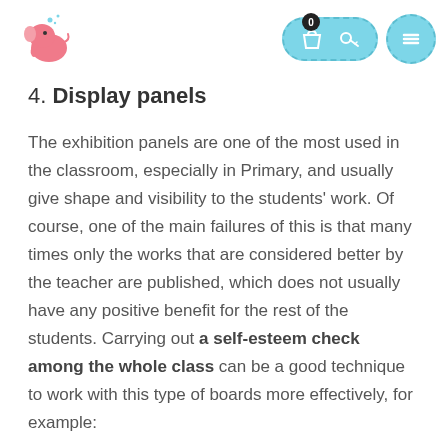Logo and navigation icons
4. Display panels
The exhibition panels are one of the most used in the classroom, especially in Primary, and usually give shape and visibility to the students' work. Of course, one of the main failures of this is that many times only the works that are considered better by the teacher are published, which does not usually have any positive benefit for the rest of the students. Carrying out a self-esteem check among the whole class can be a good technique to work with this type of boards more effectively, for example: